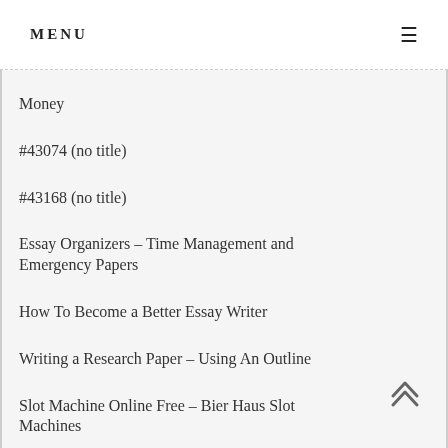MENU
Money
#43074 (no title)
#43168 (no title)
Essay Organizers – Time Management and Emergency Papers
How To Become a Better Essay Writer
Writing a Research Paper – Using An Outline
Slot Machine Online Free – Bier Haus Slot Machines